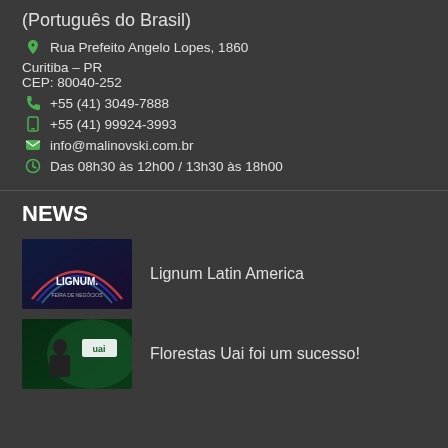(Português do Brasil)
Rua Prefeito Angelo Lopes, 1860
Curitiba – PR
CEP: 80040-252
+55 (41) 3049-7888
+55 (41) 99924-3993
info@malinovski.com.br
Das 08h30 às 12h00 / 13h30 às 18h00
NEWS
Lignum Latin America
Florestas Uai foi um sucesso!